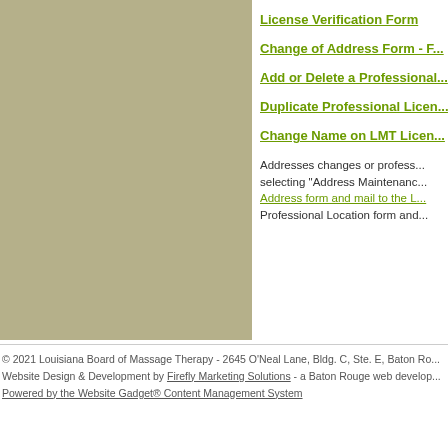[Figure (other): Olive/tan colored sidebar panel on the left side of the page]
License Verification Form
Change of Address Form - F...
Add or Delete a Professional...
Duplicate Professional Licen...
Change Name on LMT Licen...
Addresses changes or profess... selecting "Address Maintenanc... Address form and mail to the L... Professional Location form and...
© 2021 Louisiana Board of Massage Therapy - 2645 O'Neal Lane, Bldg. C, Ste. E, Baton Ro...
Website Design & Development by Firefly Marketing Solutions - a Baton Rouge web develop...
Powered by the Website Gadget® Content Management System